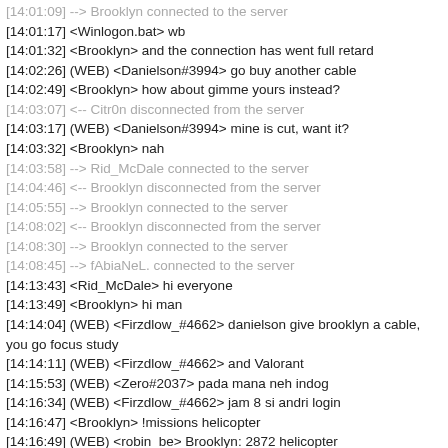[14:01:09] --> Brooklyn connected to the server
[14:01:17] <Winlogon.bat> wb
[14:01:32] <Brooklyn> and the connection has went full retard
[14:02:26] (WEB) <Danielson#3994> go buy another cable
[14:02:49] <Brooklyn> how about gimme yours instead?
[14:03:07] <-- Citr0n disconnected from the server
[14:03:17] (WEB) <Danielson#3994> mine is cut, want it?
[14:03:32] <Brooklyn> nah
[14:03:58] --> Rid_McDale connected to the server
[14:04:46] <-- Brooklyn disconnected from the server
[14:05:55] --> Brooklyn connected to the server
[14:08:02] <-- Brooklyn disconnected from the server
[14:08:30] --> Brooklyn connected to the server
[14:08:45] --> fAbiaNeL. connected to the server
[14:13:43] <Rid_McDale> hi everyone
[14:13:49] <Brooklyn> hi man
[14:14:04] (WEB) <Firzdlow_#4662> danielson give brooklyn a cable, you go focus study
[14:14:11] (WEB) <Firzdlow_#4662> and Valorant
[14:15:53] (WEB) <Zero#2037> pada mana neh indog
[14:16:34] (WEB) <Firzdlow_#4662> jam 8 si andri login
[14:16:47] <Brooklyn> !missions helicopter
[14:16:49] (WEB) <robin_be> Brooklyn: 2872 helicopter
[14:17:05] <-- fAbiaNeL. disconnected from the server
[14:17:23] <Brooklyn> !8ball is Danielson super gay?
[14:17:35] (WEB) <robin_be> Brooklyn: Most definitely.